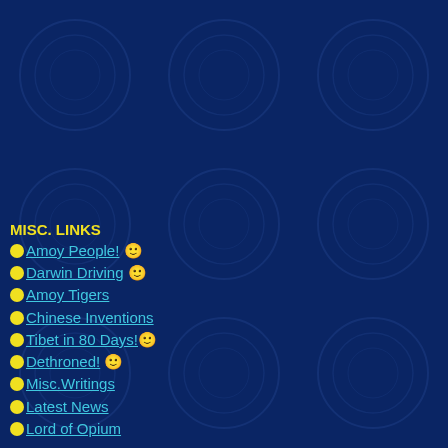MISC. LINKS
Amoy People! 🙂
Darwin Driving 🙂
Amoy Tigers
Chinese Inventions
Tibet in 80 Days!🙂
Dethroned! 🙂
Misc.Writings
Latest News
Lord of Opium